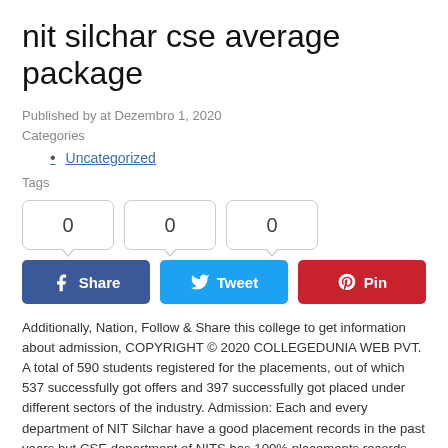nit silchar cse average package
Published by at Dezembro 1, 2020
Categories
Uncategorized
Tags
[Figure (other): Three share count boxes each showing 0, followed by Facebook Share, Twitter Tweet, and Pinterest Pin buttons]
Additionally, Nation, Follow & Share this college to get information about admission, COPYRIGHT © 2020 COLLEGEDUNIA WEB PVT. A total of 590 students registered for the placements, out of which 537 successfully got offers and 397 successfully got placed under different sectors of the industry. Admission: Each and every department of NIT Silchar have a good placement records in the past years but CSE department of NITS has 100% placements records. The table below provides a brief overview of both institutes: When it comes to curriculum the colleges need to be updated. National Institute Of Technology Silchar. IIITM, Gwalior is ranked 100th out of 200 in India for BTech by NIRF. BTech – 5.84 lacs The major companies